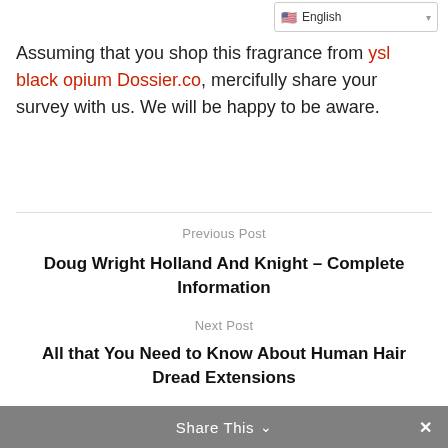English
Assuming that you shop this fragrance from ysl black opium Dossier.co, mercifully share your survey with us. We will be happy to be aware.
Previous Post
Doug Wright Holland And Knight – Complete Information
Next Post
All that You Need to Know About Human Hair Dread Extensions
Share This